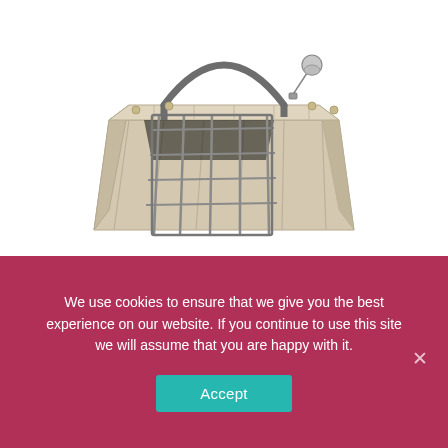[Figure (photo): Product photo of an animal carrier/kennel with a metal wire door and handle on top, shown at an angle. There is a small heat lamp attachment visible on the top right corner of the carrier. The carrier body is beige/tan colored plastic with ridged sides.]
Optional Cover and Heat Lamp
[Figure (photo): Partial view of a similar beige/tan animal carrier/kennel from above, showing top surface with black latch components.]
We use cookies to ensure that we give you the best experience on our website. If you continue to use this site we will assume that you are happy with it.